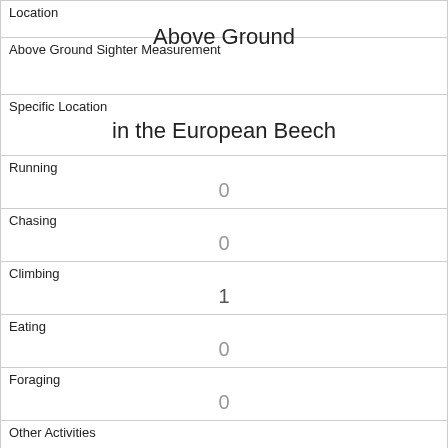| Location | Above Ground |
| Above Ground Sighter Measurement |  |
| Specific Location | in the European Beech |
| Running | 0 |
| Chasing | 0 |
| Climbing | 1 |
| Eating | 0 |
| Foraging | 0 |
| Other Activities |  |
| Kuks | 0 |